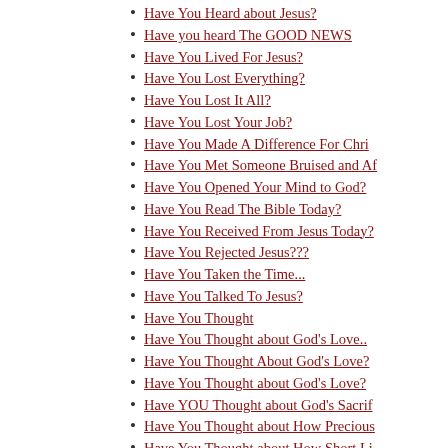Have You Heard about Jesus?
Have you heard The GOOD NEWS
Have You Lived For Jesus?
Have You Lost Everything?
Have You Lost It All?
Have You Lost Your Job?
Have You Made A Difference For Chri
Have You Met Someone Bruised and Af
Have You Opened Your Mind to God?
Have You Read The Bible Today?
Have You Received From Jesus Today?
Have You Rejected Jesus???
Have You Taken the Time...
Have You Talked To Jesus?
Have You Thought
Have You Thought about God's Love..
Have You Thought About God's Love?
Have You Thought about God's Love?
Have YOU Thought about God's Sacrif
Have You Thought about How Precious
Have You Thought about How Short Li
Have You Thought About Jesus?
Have You Thought About Jesus?
Have You Thought about Life, Lately
Have You Thought Of Jesus?
Have You Thought Of Jesus?
Have You Tried God Today?
Have You Tried Jesus?
Have You Turned from the TRUE God?
Have You Turned Your Back on God?